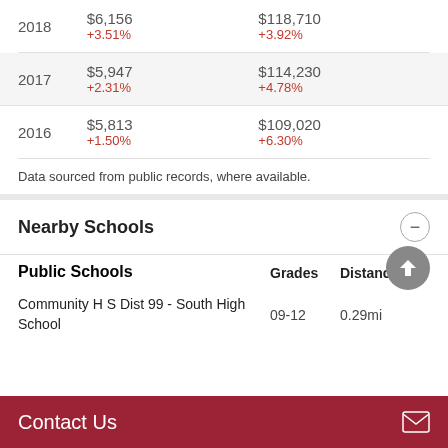| Year | Value1 | Value2 |
| --- | --- | --- |
| 2018 | $6,156
+3.51% | $118,710
+3.92% |
| 2017 | $5,947
+2.31% | $114,230
+4.78% |
| 2016 | $5,813
+1.50% | $109,020
+6.30% |
Data sourced from public records, where available.
Nearby Schools
| Public Schools | Grades | Distance |
| --- | --- | --- |
| Community H S Dist 99 - South High School | 09-12 | 0.29mi |
Contact Us